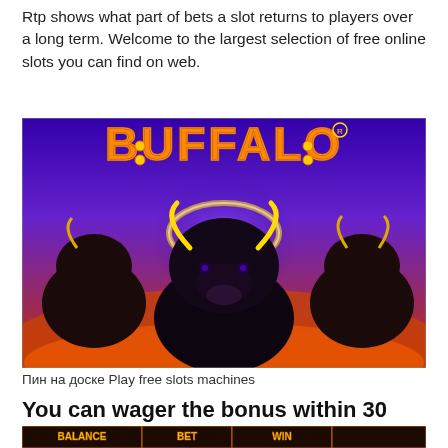Rtp shows what part of bets a slot returns to players over a long term. Welcome to the largest selection of free online slots you can find on web.
[Figure (photo): Buffalo slot machine game title image showing three dark buffalo silhouettes with glowing horns against a fiery orange-red background, with the word BUFFALO in large gold/orange letters at the top.]
Пин на доске Play free slots machines
You can wager the bonus within 30 days from the moment of its accrual.
[Figure (screenshot): Bottom strip of a slot machine interface showing BALANCE, BET, WIN labels and controls.]